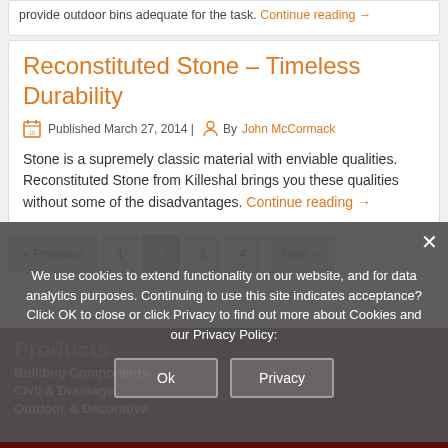provide outdoor bins adequate for the task. Continue reading →
Reconstituted Stone – Timeless Durability
Published March 27, 2014 | By John McCormack
Stone is a supremely classic material with enviable qualities. Reconstituted Stone from Killeshal brings you these qualities without some of the disadvantages. Continue reading →
« Previous
1
2
3
4
Next »
Products
Building Components
Civil & Drainage
Outdoor & Decorative
We use cookies to extend functionality on our website, and for data analytics purposes. Continuing to use this site indicates acceptance? Click OK to close or click Privacy to find out more about Cookies and our Privacy Policy: